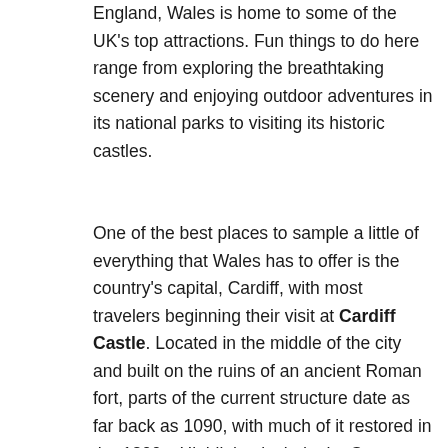England, Wales is home to some of the UK's top attractions. Fun things to do here range from exploring the breathtaking scenery and enjoying outdoor adventures in its national parks to visiting its historic castles.
One of the best places to sample a little of everything that Wales has to offer is the country's capital, Cardiff, with most travelers beginning their visit at Cardiff Castle. Located in the middle of the city and built on the ruins of an ancient Roman fort, parts of the current structure date as far back as 1090, with much of it restored in the 1800s. Highlights include the State Apartments, the Clock Tower, the Chapel, and a spectacular Banqueting Hall with its fine murals.
Afterwards, be sure to spend time wandering the city's many old Victorian shopping arcades, the best of which can be found around The Hayes. Also worth checking out is Cardiff Bay. One of the UK's largest redevelopment projects, this vast area is now home to numerous fine...